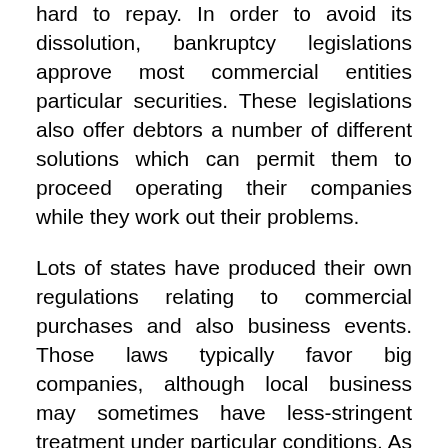hard to repay. In order to avoid its dissolution, bankruptcy legislations approve most commercial entities particular securities. These legislations also offer debtors a number of different solutions which can permit them to proceed operating their companies while they work out their problems.
Lots of states have produced their own regulations relating to commercial purchases and also business events. Those laws typically favor big companies, although local business may sometimes have less-stringent treatment under particular conditions. As with all areas of organization law, industrial law has seen some modifications gradually. Currently, there are some variations amongst the states pertaining to exactly how borrowers' rights and their legal rights to consign contracts are implemented.
Along with those locations of organization law, there are much more details areas of problem. 2 of the most vital locations of organization law concentrate on